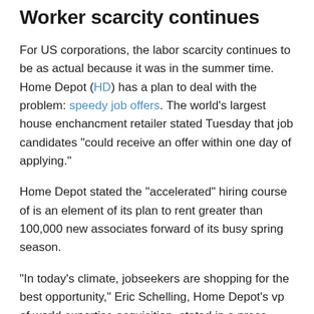Worker scarcity continues
For US corporations, the labor scarcity continues to be as actual because it was in the summer time. Home Depot (HD) has a plan to deal with the problem: speedy job offers. The world’s largest house enchancment retailer stated Tuesday that job candidates “could receive an offer within one day of applying.”
Home Depot stated the “accelerated” hiring course of is an element of its plan to rent greater than 100,000 new associates forward of its busy spring season.
“In today’s climate, jobseekers are shopping for the best opportunity,” Eric Schelling, Home Depot’s vp of world expertise acquisition, stated in a press release.
To entice staff, Home Depot stated it presents jobseekers